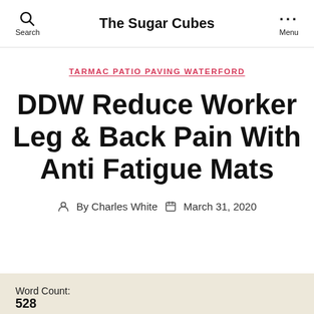The Sugar Cubes
TARMAC PATIO PAVING WATERFORD
DDW Reduce Worker Leg & Back Pain With Anti Fatigue Mats
By Charles White  March 31, 2020
Word Count:
528